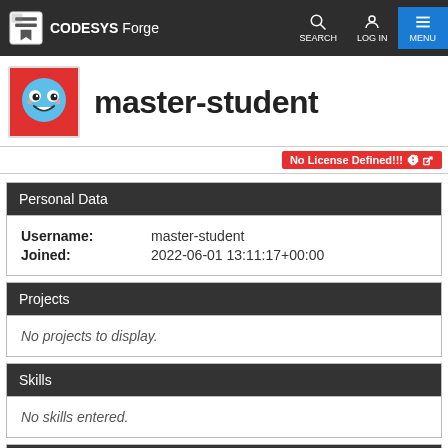CODESYS Forge — navigation bar with SEARCH, LOG IN, MENU
master-student
No License Defined!!!
Personal Data
Username: master-student
Joined: 2022-06-01 13:11:17+00:00
Projects
No projects to display.
Skills
No skills entered.